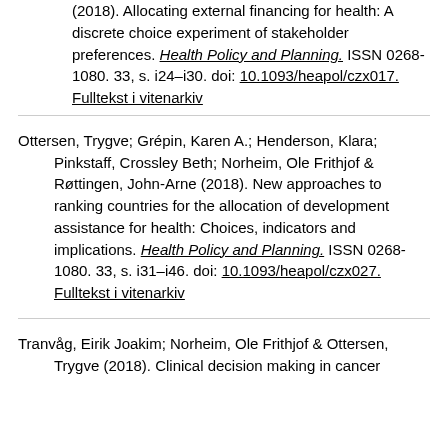(2018). Allocating external financing for health: A discrete choice experiment of stakeholder preferences. Health Policy and Planning. ISSN 0268-1080. 33, s. i24–i30. doi: 10.1093/heapol/czx017. Fulltekst i vitenarkiv
Ottersen, Trygve; Grépin, Karen A.; Henderson, Klara; Pinkstaff, Crossley Beth; Norheim, Ole Frithjof & Røttingen, John-Arne (2018). New approaches to ranking countries for the allocation of development assistance for health: Choices, indicators and implications. Health Policy and Planning. ISSN 0268-1080. 33, s. i31–i46. doi: 10.1093/heapol/czx027. Fulltekst i vitenarkiv
Tranvåg, Eirik Joakim; Norheim, Ole Frithjof & Ottersen, Trygve (2018). Clinical decision making in cancer